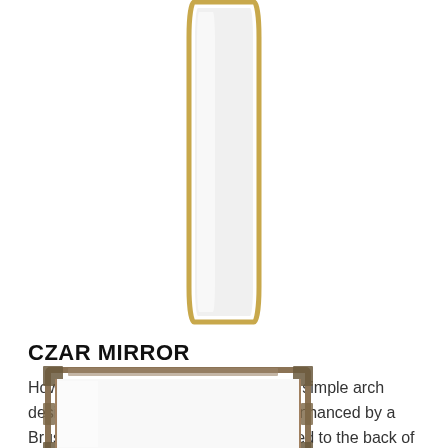[Figure (photo): Tall rectangular mirror with a thin gold/brushed brass frame, shown vertically oriented on white background]
CZAR MIRROR
Howard Elliott's Czar mirror features a simple arch design on a tall stainless steel frame enhanced by a Brushed Brass finish. D-rings are affixed to the back of the frame so that the mirror is ready…
Howard Elliott, mirror
[Figure (photo): Square mirror with an ornate decorated frame, partially visible at bottom of page, with white reflective surface and decorative corner elements]